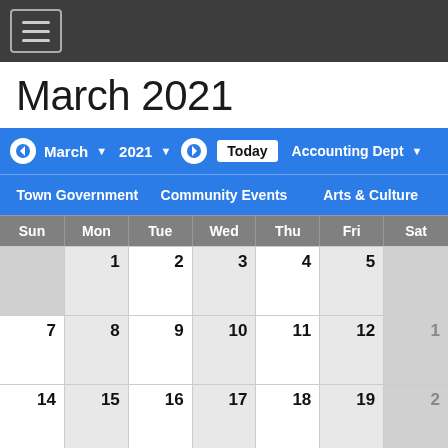☰ (navigation hamburger menu)
March 2021
← March ▼  2021 ▼  →  Today  Accounting Dept ▼
Town Government  Community Events  Arts & Culture
| Sun | Mon | Tue | Wed | Thu | Fri | Sat |
| --- | --- | --- | --- | --- | --- | --- |
|  | 1 | 2 | 3 | 4 | 5 |  |
| 7 | 8 | 9 | 10 | 11 | 12 | 1 |
| 14 | 15 | 16 | 17 | 18 | 19 | 2 |
| 21 | 22 | 23 | 24 | 25 | 26 |  |